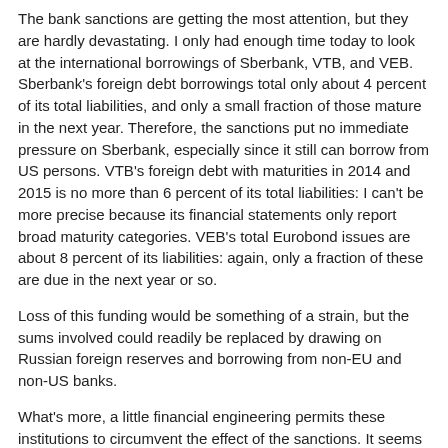The bank sanctions are getting the most attention, but they are hardly devastating. I only had enough time today to look at the international borrowings of Sberbank, VTB, and VEB. Sberbank's foreign debt borrowings total only about 4 percent of its total liabilities, and only a small fraction of those mature in the next year. Therefore, the sanctions put no immediate pressure on Sberbank, especially since it still can borrow from US persons. VTB's foreign debt with maturities in 2014 and 2015 is no more than 6 percent of its total liabilities: I can't be more precise because its financial statements only report broad maturity categories. VEB's total Eurobond issues are about 8 percent of its liabilities: again, only a fraction of these are due in the next year or so.
Loss of this funding would be something of a strain, but the sums involved could readily be replaced by drawing on Russian foreign reserves and borrowing from non-EU and non-US banks.
What's more, a little financial engineering permits these institutions to circumvent the effect of the sanctions. It seems that they can still enter into derivatives trades: derivatives are explicitly excluded from US sanctions. Since under the sanctions the banks can still borrow with 90 day maturities, they can create a synthetic long term loan with a fixed interest rate by borrowing for 90 days on a rolling basis, and enter into receive floating-pay fix swaps. Yes, there still is some risk here: if sanctions are extended to prevent even short term borrowings, the banks following this strategy would have a short swap position and no offsetting floating rate